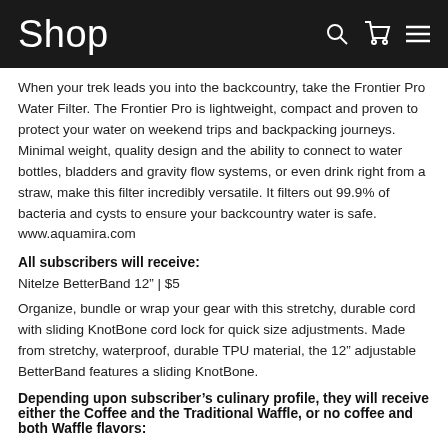Shop
When your trek leads you into the backcountry, take the Frontier Pro Water Filter. The Frontier Pro is lightweight, compact and proven to protect your water on weekend trips and backpacking journeys. Minimal weight, quality design and the ability to connect to water bottles, bladders and gravity flow systems, or even drink right from a straw, make this filter incredibly versatile. It filters out 99.9% of bacteria and cysts to ensure your backcountry water is safe. www.aquamira.com
All subscribers will receive:
Nitelze BetterBand 12” | $5
Organize, bundle or wrap your gear with this stretchy, durable cord with sliding KnotBone cord lock for quick size adjustments. Made from stretchy, waterproof, durable TPU material, the 12” adjustable BetterBand features a sliding KnotBone.
Depending upon subscriber’s culinary profile, they will receive either the Coffee and the Traditional Waffle, or no coffee and both Waffle flavors: